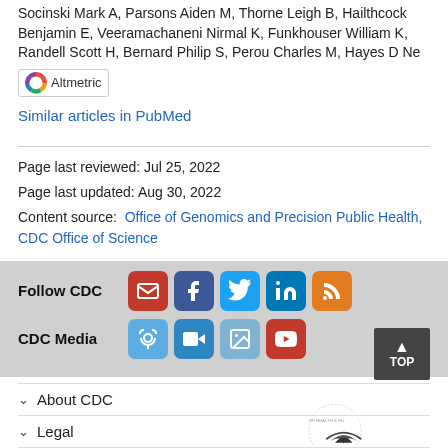Socinski Mark A, Parsons Aiden M, Thorne Leigh B, Hailthcock Benjamin E, Veeramachaneni Nirmal K, Funkhouser William K, Randell Scott H, Bernard Philip S, Perou Charles M, Hayes D Ne
[Figure (logo): Altmetric badge with rainbow donut logo and 'Altmetric' text]
Similar articles in PubMed
Page last reviewed: Jul 25, 2022
Page last updated: Aug 30, 2022
Content source:  Office of Genomics and Precision Public Health, CDC Office of Science
[Figure (infographic): Follow CDC social media icons: email, Facebook, Twitter, LinkedIn, RSS; CDC Media icons: podcast, video, photo gallery, YouTube]
About CDC
Legal
[Figure (logo): HHS seal partial logo and TOP button]